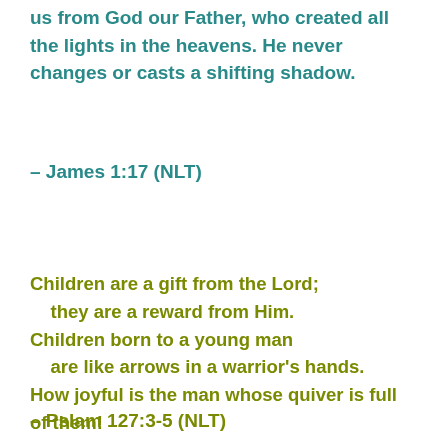us from God our Father, who created all the lights in the heavens. He never changes or casts a shifting shadow.
– James 1:17 (NLT)
Children are a gift from the Lord;
    they are a reward from Him.
Children born to a young man
    are like arrows in a warrior's hands.
How joyful is the man whose quiver is full of them!
– Pslam 127:3-5 (NLT)